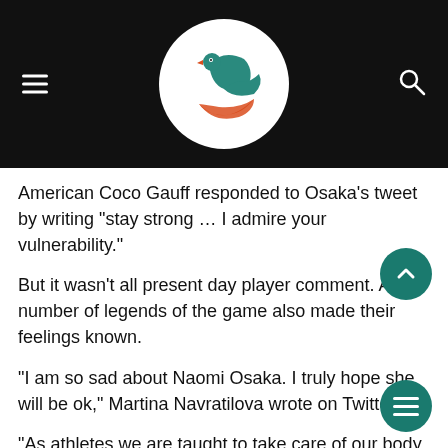[Figure (logo): Sports website header with hamburger menu icon on left, search icon on right, and a circular logo in the center showing a teal bird/rooster with an orange swoosh on a white circular background, all on a black bar.]
American Coco Gauff responded to Osaka’s tweet by writing “stay strong … I admire your vulnerability.”
But it wasn’t all present day player comment. A number of legends of the game also made their feelings known.
“I am so sad about Naomi Osaka. I truly hope she will be ok,” Martina Navratilova wrote on Twitter.
“As athletes we are taught to take care of our body, and perhaps the mental and emotional aspect gets short shrift.”